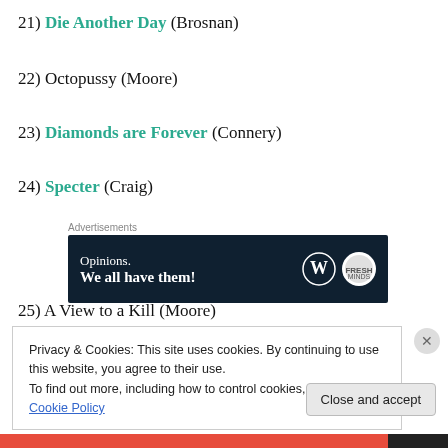21) Die Another Day (Brosnan)
22) Octopussy (Moore)
23) Diamonds are Forever (Connery)
24) Specter (Craig)
[Figure (other): Advertisement banner: 'Opinions. We all have them!' with WordPress and Fresh Minds logos on dark navy background]
25) A View to a Kill (Moore)
Privacy & Cookies: This site uses cookies. By continuing to use this website, you agree to their use. To find out more, including how to control cookies, see here: Cookie Policy
Close and accept